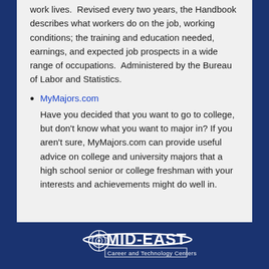work lives.  Revised every two years, the Handbook describes what workers do on the job, working conditions; the training and education needed, earnings, and expected job prospects in a wide range of occupations.  Administered by the Bureau of Labor and Statistics.
MyMajors.com — Have you decided that you want to go to college, but don't know what you want to major in? If you aren't sure, MyMajors.com can provide useful advice on college and university majors that a high school senior or college freshman with your interests and achievements might do well in.
[Figure (logo): Mid-East Career and Technology Centers logo — white text on dark blue background with circular target/globe graphic]